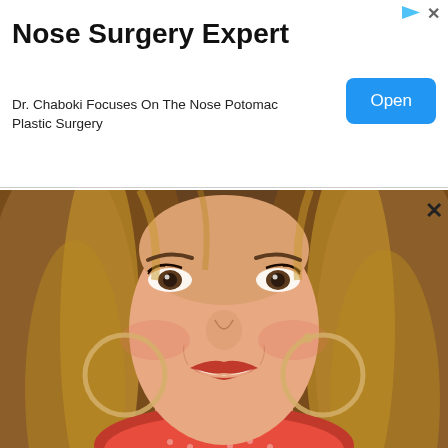Nose Surgery Expert
Dr. Chaboki Focuses On The Nose Potomac Plastic Surgery
Open
[Figure (photo): Close-up photo of a smiling woman with long blonde wavy hair, red lipstick, large hoop earrings, and a red polka-dot scarf/top. The image appears to be a video thumbnail for a medical/cosmetic surgery advertisement.]